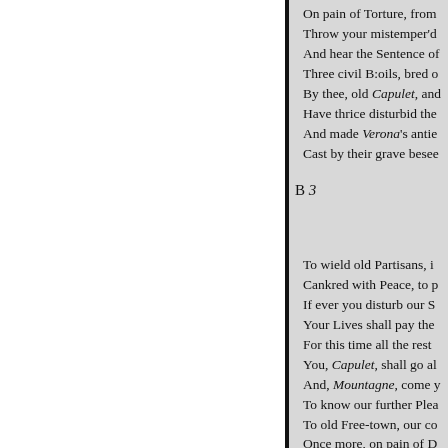On pain of Torture, from
Throw your mistemper'd
And hear the Sentence of
Three civil B:oils, bred o
By thee, old Capulet, and
Have thrice disturbid the
And made Verona's antie
Cast by their grave besee
B 3
To wield old Partisans, i
Cankred with Peace, to p
If ever you disturb our S
Your Lives shall pay the
For this time all the rest
You, Capulet, shall go al
And, Mountagne, come y
To know our further Plea
To old Free-town, our co
Once more, on pain of D
[Exeunt Prince and Capule